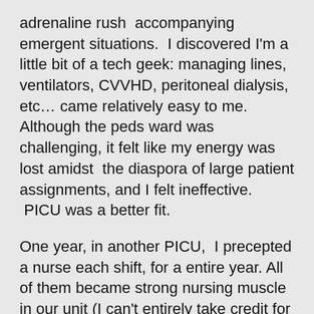adrenaline rush  accompanying emergent situations.  I discovered I'm a little bit of a tech geek: managing lines, ventilators, CVVHD, peritoneal dialysis, etc… came relatively easy to me. Although the peds ward was challenging, it felt like my energy was lost amidst  the diaspora of large patient assignments, and I felt ineffective.  PICU was a better fit.
One year, in another PICU,  I precepted a nurse each shift, for a entire year. All of them became strong nursing muscle in our unit (I can't entirely take credit for that; we hired well), but two, and I want to talk about them.
The first was a nurse whose previous experience was ER. She was new to our city, and a single mother. She commuted to work, then trained in